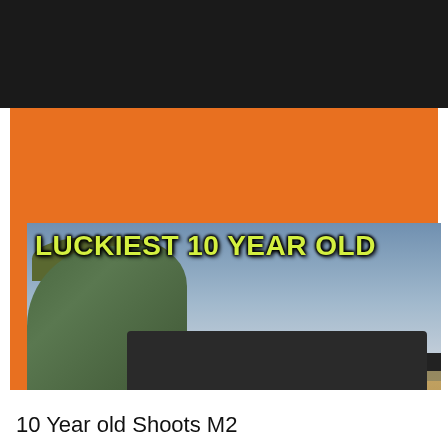[Figure (screenshot): Video thumbnail showing a young person shooting an M2 heavy machine gun on a tripod mount at an outdoor desert shooting range. Yellow-green bold text overlay reads 'LUCKIEST 10 YEAR OLD'. The thumbnail has an orange border and is set against a dark/black background typical of a video player interface.]
10 Year old Shoots M2